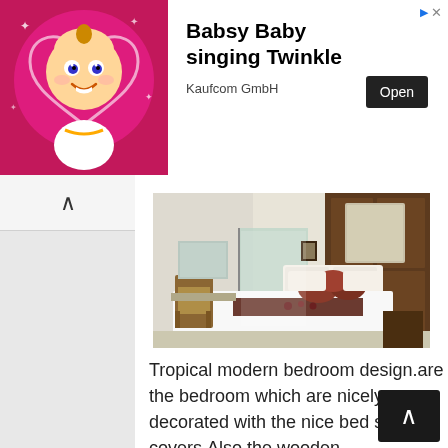[Figure (screenshot): Advertisement banner: Babsy Baby animated cartoon baby character on pink sparkly background with heart shape. Ad text: 'Babsy Baby singing Twinkle' by Kaufcom GmbH with Open button.]
[Figure (photo): Tropical modern bedroom with white bedding, dark red/maroon decorative pillows, wooden wardrobe/headboard, wicker chair, and en-suite bathroom with glass shower visible in background. Well-lit, hotel-style room.]
Tropical modern bedroom design.are the bedroom which are nicely decorated with the nice bed shits covers,Also the wooden